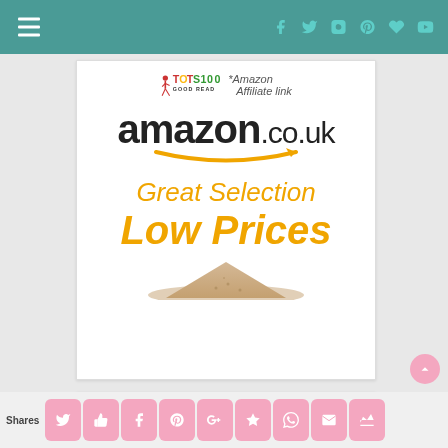Navigation header with hamburger menu and social icons (Facebook, Twitter, Instagram, Pinterest, Heart, YouTube)
[Figure (screenshot): Amazon.co.uk affiliate advertisement banner showing Toys100 Good Read badge, amazon.co.uk logo with smile arrow, 'Great Selection Low Prices' text in orange, and a product image at bottom]
*Amazon Affiliate link
[Figure (screenshot): Bottom content card partially visible]
Shares | Twitter | Thumbs Up | Facebook | Pinterest | Google+ | Star | WhatsApp | Email | Crown share buttons